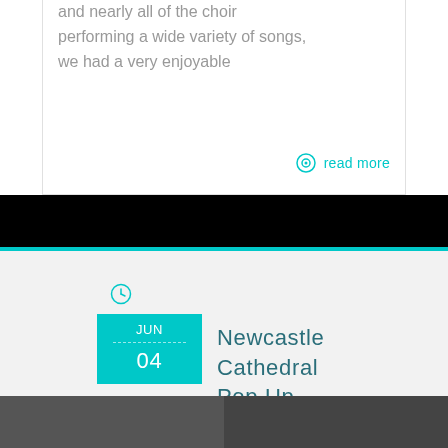and nearly all of the choir performing a wide variety of songs, we had a very enjoyable
read more
Newcastle Cathedral Pop Up Performance
LATEST UPDATES
[Figure (photo): Two thumbnail photos at the bottom of the page]